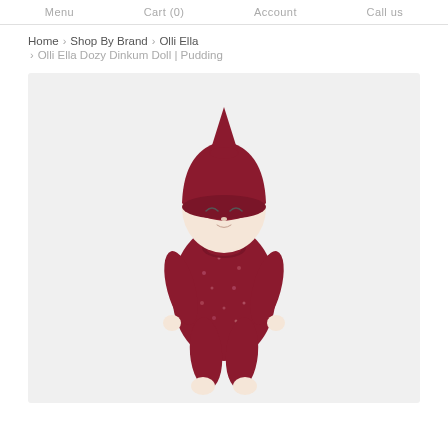Menu   Cart (0)   Account   Call us
Home > Shop By Brand > Olli Ella > Olli Ella Dozy Dinkum Doll | Pudding
[Figure (photo): Product photo of Olli Ella Dozy Dinkum Doll named Pudding — a soft fabric baby doll with a cream face, closed sleepy eyes, wearing a dark red/burgundy floral-print onesie pajama and matching pointed bonnet hat, displayed against a light grey background.]